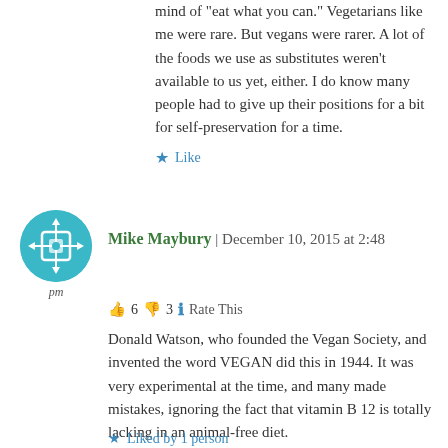mind of “eat what you can.” Vegetarians like me were rare. But vegans were rarer. A lot of the foods we use as substitutes weren’t available to us yet, either. I do know many people had to give up their positions for a bit for self-preservation for a time.
★ Like
[Figure (illustration): Circular avatar icon with teal/cyan background and white diamond pattern symbol]
Mike Maybury | December 10, 2015 at 2:48 pm
👍 6 👎 3 ℹ Rate This
Donald Watson, who founded the Vegan Society, and invented the word VEGAN did this in 1944. It was very experimental at the time, and many made mistakes, ignoring the fact that vitamin B 12 is totally lacking in an animal-free diet.
★ Liked by 1 person